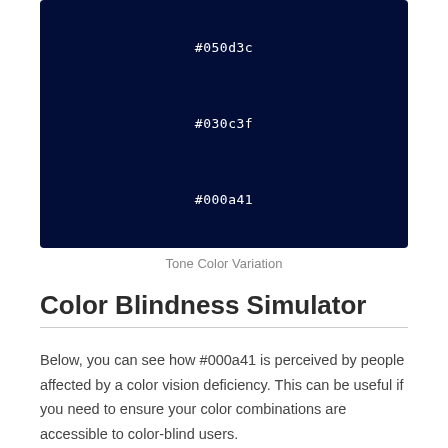[Figure (illustration): Dark navy blue color swatch showing three color hex codes: #050d3c, #030c3f, #000a41]
Tone Color Variation
Color Blindness Simulator
Below, you can see how #000a41 is perceived by people affected by a color vision deficiency. This can be useful if you need to ensure your color combinations are accessible to color-blind users.
Monochromacy
[Figure (illustration): Nearly black color swatch representing Achromatopsia simulation of #000a41]
Achromatopsia